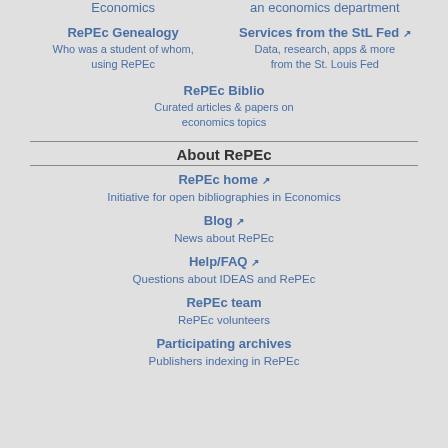Economics
an economics department
RePEc Genealogy
Who was a student of whom, using RePEc
Services from the StL Fed
Data, research, apps & more from the St. Louis Fed
RePEc Biblio
Curated articles & papers on economics topics
About RePEc
RePEc home
Initiative for open bibliographies in Economics
Blog
News about RePEc
Help/FAQ
Questions about IDEAS and RePEc
RePEc team
RePEc volunteers
Participating archives
Publishers indexing in RePEc